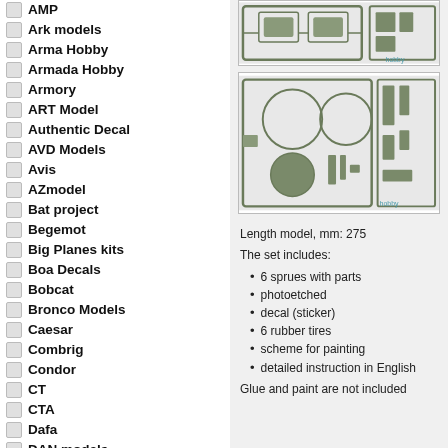AMP
Ark models
Arma Hobby
Armada Hobby
Armory
ART Model
Authentic Decal
AVD Models
Avis
AZmodel
Bat project
Begemot
Big Planes kits
Boa Decals
Bobcat
Bronco Models
Caesar
Combrig
Condor
CT
CTA
Dafa
DAN models
DDS
Dora Wings
[Figure (photo): Model kit sprue parts - top image showing tank parts on green plastic sprue frames]
[Figure (photo): Model kit sprue parts - bottom image showing tank body and wheels on green plastic sprue frames]
Length model, mm: 275
The set includes:
6 sprues with parts
photoetched
decal (sticker)
6 rubber tires
scheme for painting
detailed instruction in English
Glue and paint are not included